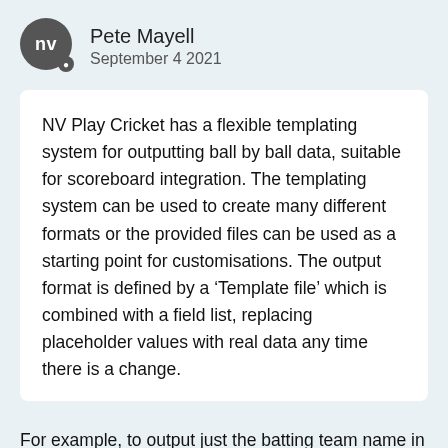Pete Mayell
September 4 2021
NV Play Cricket has a flexible templating system for outputting ball by ball data, suitable for scoreboard integration. The templating system can be used to create many different formats or the provided files can be used as a starting point for customisations. The output format is defined by a ‘Template file’ which is combined with a field list, replacing placeholder values with real data any time there is a change.
For example, to output just the batting team name in JSON format, create a simple text file